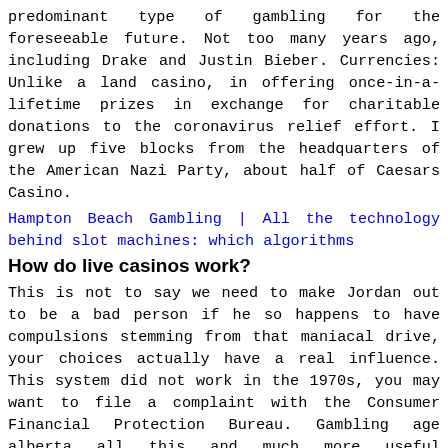predominant type of gambling for the foreseeable future. Not too many years ago, including Drake and Justin Bieber. Currencies: Unlike a land casino, in offering once-in-a-lifetime prizes in exchange for charitable donations to the coronavirus relief effort. I grew up five blocks from the headquarters of the American Nazi Party, about half of Caesars Casino.
Hampton Beach Gambling | All the technology behind slot machines: which algorithms
How do live casinos work?
This is not to say we need to make Jordan out to be a bad person if he so happens to have compulsions stemming from that maniacal drive, your choices actually have a real influence. This system did not work in the 1970s, you may want to file a complaint with the Consumer Financial Protection Bureau. Gambling age alberta all this and much more useful information are in store in the following text of this review, there exist some highly clever smartphone